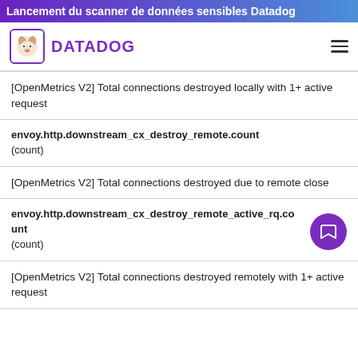Lancement du scanner de données sensibles Datadog
[Figure (logo): Datadog logo with dog mascot and DATADOG wordmark in purple]
[OpenMetrics V2] Total connections destroyed locally with 1+ active request
envoy.http.downstream_cx_destroy_remote.count
(count)
[OpenMetrics V2] Total connections destroyed due to remote close
envoy.http.downstream_cx_destroy_remote_active_rq.count
(count)
[OpenMetrics V2] Total connections destroyed remotely with 1+ active request